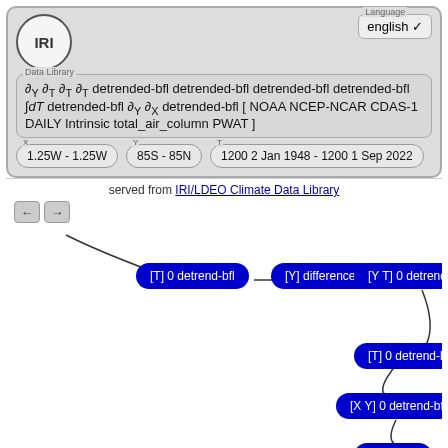[Figure (flowchart): IRI Data Library interface showing formula with partial derivatives and detrend-bfl operations on NOAA NCEP-NCAR CDAS-1 DAILY data, with coordinate selectors and a flowchart of processing nodes: [T] 0 detrend-bfl, [Y] differences, [Y T] 0 detrend-bfl, [T] 0 detrend-bfl, [X Y] 0 detrend-bfl, [T] partial, [T] partial, [T] partial]
served from IRI/LDEO Climate Data Library